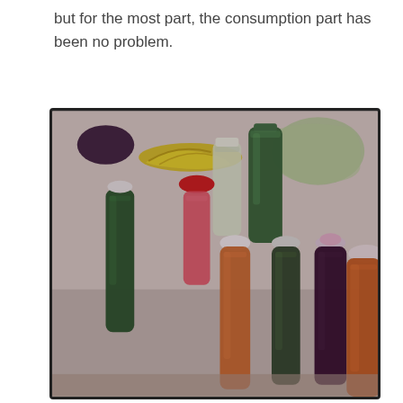but for the most part, the consumption part has been no problem.
[Figure (photo): Multiple plastic bottles filled with colorful fresh juices (green, red/pink, orange, dark purple) arranged on a table surface, with bananas and a green plastic bag visible in the background. The photo has a slightly retro/Instagram filter effect with a dark border.]